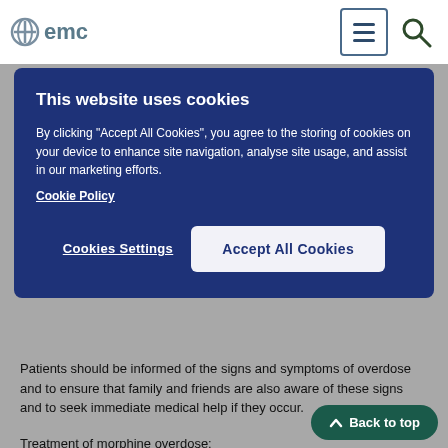emc
[Figure (screenshot): Cookie consent banner with dark navy background, title 'This website uses cookies', body text, Cookie Policy link, Cookies Settings button, and Accept All Cookies button]
Patients should be informed of the signs and symptoms of overdose and to ensure that family and friends are also aware of these signs and to seek immediate medical help if they occur.
Treatment of morphine overdose:
Primary attention should be given to the establishment of a patent airway and institution of assisted or controlled ventilation.
Oral activated charcoal (50g for adults, 1 g/kg for children) may be considered if a substantial amount has been ingested within one hour, provided the airway can be protected.
The pure opioid antagonists are specific antidotes against the